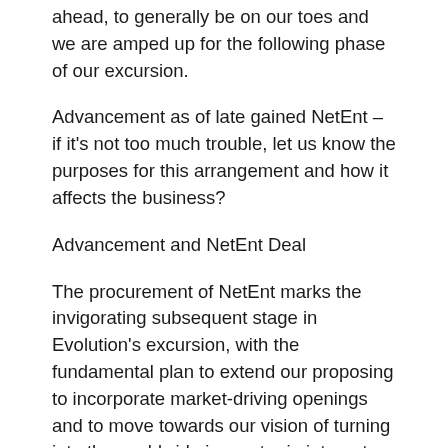ahead, to generally be on our toes and we are amped up for the following phase of our excursion.
Advancement as of late gained NetEnt – if it's not too much trouble, let us know the purposes for this arrangement and how it affects the business?
Advancement and NetEnt Deal
The procurement of NetEnt marks the invigorating subsequent stage in Evolution's excursion, with the fundamental plan to extend our proposing to incorporate market-driving openings and to move towards our vision of turning into the worldwide innovator in internet based gambling club. Advancement has a main situation in Live Casino